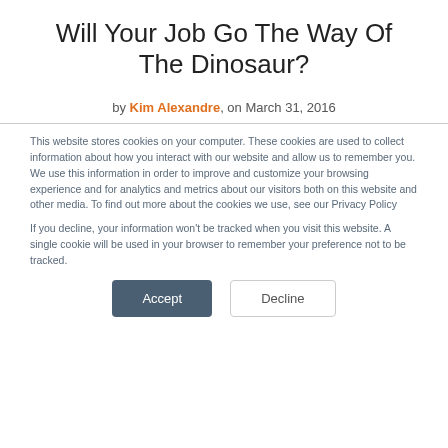Will Your Job Go The Way Of The Dinosaur?
by Kim Alexandre, on March 31, 2016
This website stores cookies on your computer. These cookies are used to collect information about how you interact with our website and allow us to remember you. We use this information in order to improve and customize your browsing experience and for analytics and metrics about our visitors both on this website and other media. To find out more about the cookies we use, see our Privacy Policy
If you decline, your information won't be tracked when you visit this website. A single cookie will be used in your browser to remember your preference not to be tracked.